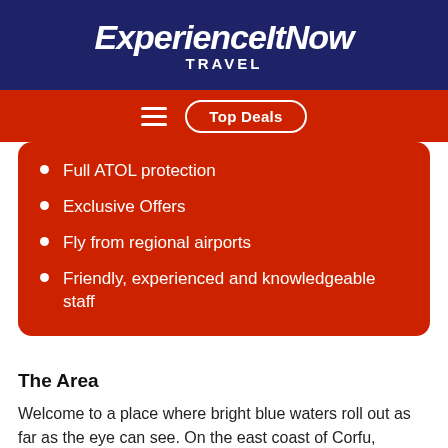ExperienceItNow TRAVEL
[Figure (screenshot): Navigation bar with hamburger menu icon and 'Top Deals' pill button on red background]
Full ATOL protection
Exclusive Offers
Fly from regional airports
Friendly, experienced and knowledgeable staff
The Area
Welcome to a place where bright blue waters roll out as far as the eye can see. On the east coast of Corfu, Moraitika is a predominantly beachy resort, with sun